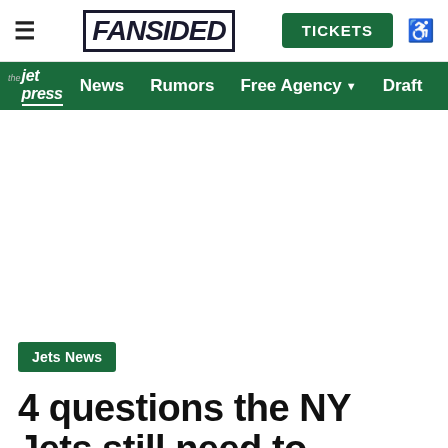FANSIDED | TICKETS
the jet press | News | Rumors | Free Agency | Draft | Hist
Jets News
4 questions the NY Jets still need to answer this